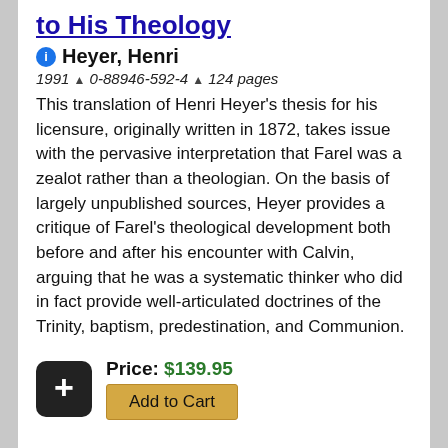to His Theology
Heyer, Henri
1991 ^ 0-88946-592-4 ^ 124 pages
This translation of Henri Heyer's thesis for his licensure, originally written in 1872, takes issue with the pervasive interpretation that Farel was a zealot rather than a theologian. On the basis of largely unpublished sources, Heyer provides a critique of Farel's theological development both before and after his encounter with Calvin, arguing that he was a systematic thinker who did in fact provide well-articulated doctrines of the Trinity, baptism, predestination, and Communion.
Price: $139.95
Add to Cart